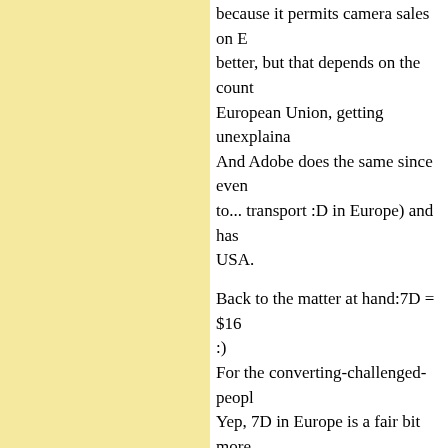because it permits camera sales on E... better, but that depends on the count... European Union, getting unexplaina... And Adobe does the same since even... to... transport :D in Europe) and has... USA.

Back to the matter at hand:7D = $16... :)
For the converting-challenged-peopl... Yep, 7D in Europe is a fair bit more... Now where's a scottish Ken Rockwe... moves? I've heard that D3X is actua... necesarily b/c of that boycott, but si... seem to have gone nuts.

P.S.: and regarding the old naming-s... ahead and released a (water/shock-p...
Posted by: Barbu | Tuesday, 01 September 2009 at 05:5...